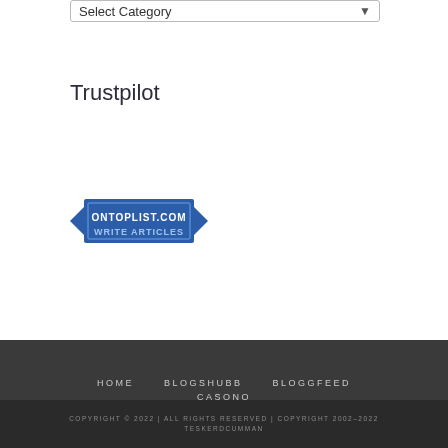Select Category
Trustpilot
[Figure (logo): ONTOPLIST.COM - WRITE ARTICLES badge/banner with blue ribbon design]
HOME   BLOGSHUBB   BLOGGFEED   CASONO
COPYRIGHT © 2022 | ALL RIGHTS RESERVED | COPYRIGHT 2002-2022 TESKERDCUMMAN